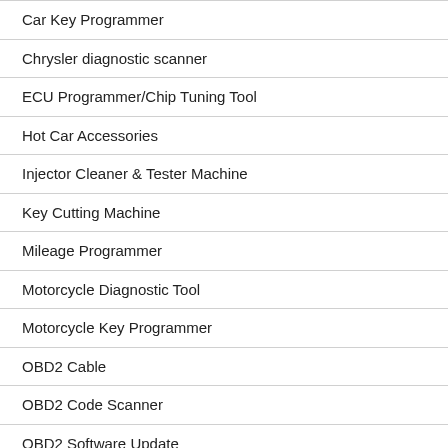Car Key Programmer
Chrysler diagnostic scanner
ECU Programmer/Chip Tuning Tool
Hot Car Accessories
Injector Cleaner & Tester Machine
Key Cutting Machine
Mileage Programmer
Motorcycle Diagnostic Tool
Motorcycle Key Programmer
OBD2 Cable
OBD2 Code Scanner
OBD2 Software Update
Oil Reset Tool
Programming & Coding